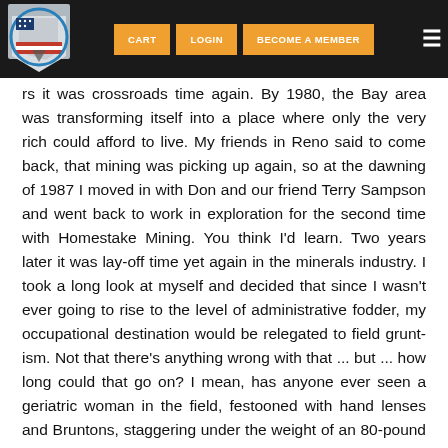CART  LOGIN  BECOME A MEMBER
rs it was crossroads time again. By 1980, the Bay area was transforming itself into a place where only the very rich could afford to live. My friends in Reno said to come back, that mining was picking up again, so at the dawning of 1987 I moved in with Don and our friend Terry Sampson and went back to work in exploration for the second time with Homestake Mining. You think I'd learn. Two years later it was lay-off time yet again in the minerals industry. I took a long look at myself and decided that since I wasn't ever going to rise to the level of administrative fodder, my occupational destination would be relegated to field grunt-ism. Not that there's anything wrong with that ... but ... how long could that go on? I mean, has anyone ever seen a geriatric woman in the field, festooned with hand lenses and Bruntons, staggering under the weight of an 80-pound backpack full of rock samples? I didn't think so. It